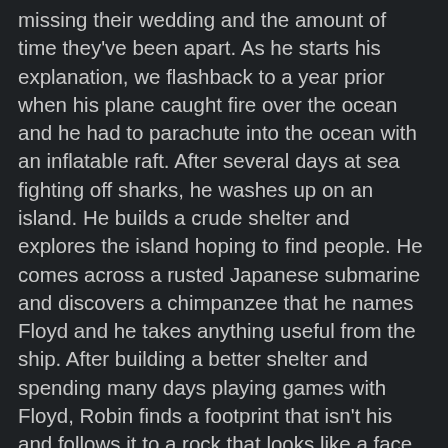missing their wedding and the amount of time they've been apart. As he starts his explanation, we flashback to a year prior when his plane caught fire over the ocean and he had to parachute into the ocean with an inflatable raft. After several days at sea fighting off sharks, he washes up on an island. He builds a crude shelter and explores the island hoping to find people. He comes across a rusted Japanese submarine and discovers a chimpanzee that he names Floyd and he takes anything useful from the ship. After building a better shelter and spending many days playing games with Floyd, Robin finds a footprint that isn't his and follows it to a rock that looks like a face. There he meets Wednesday, an island girl who tries to kill him. He takes her captive to learn more about her and discovers that her father is the chief and she ran away to get out of an arranged marriage. Wednesday's sisters and cousins soon run away as well and Robin trains them for the imminent war against the rest of the tribe. Robin hides in the rock face with a microphone from the submarine to amplify his voice when Chief Tanamashu comes to ask his god questions. His secret is quickly revealed, but after a series of boobie traps, Tanamashu agrees to give the women their rights. At the